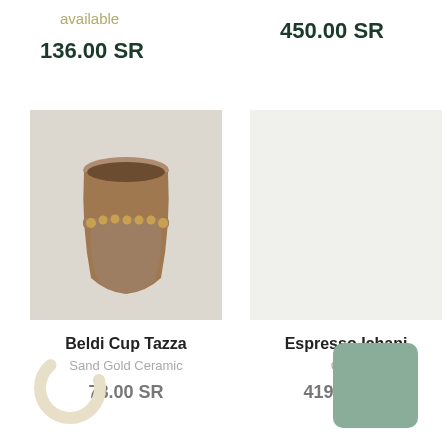available
136.00 SR
450.00 SR
[Figure (photo): Brown ceramic cup with gold decorative band around middle, on light background]
[Figure (photo): Light cream/white blank product image placeholder]
Beldi Cup Tazza
Espresso Ichani
Sand Gold Ceramic
Cups
78.00 SR
419.29 SR
[Figure (other): Loading spinner circle icon in cream/beige color]
[Figure (other): Sage green color swatch square with rounded corners]